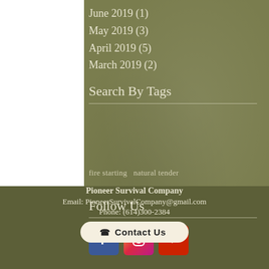June 2019 (1)
May 2019 (3)
April 2019 (5)
March 2019 (2)
Search By Tags
fire starting   natural tender
Follow Us
[Figure (infographic): Social media icons: Facebook (blue), Instagram (pink gradient), YouTube (red)]
Pioneer Survival Company
Email: PioneerSurvivalCompany@gmail.com
Phone: (614)300-2384
Contact Us